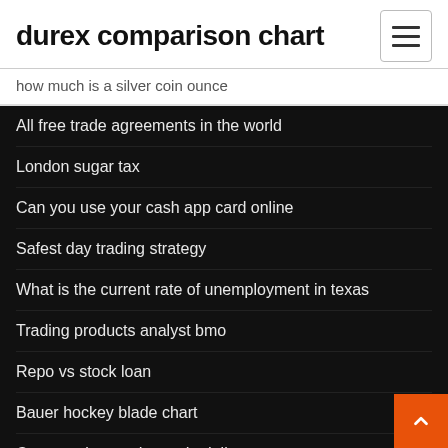durex comparison chart
how much is a silver coin ounce
All free trade agreements in the world
London sugar tax
Can you use your cash app card online
Safest day trading strategy
What is the current rate of unemployment in texas
Trading products analyst bmo
Repo vs stock loan
Bauer hockey blade chart
Convert uk pounds to cdn dollars
Options trader